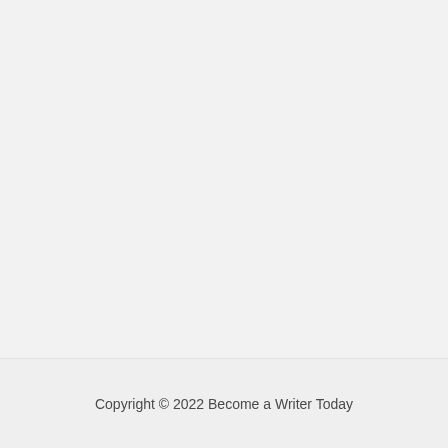Copyright © 2022 Become a Writer Today